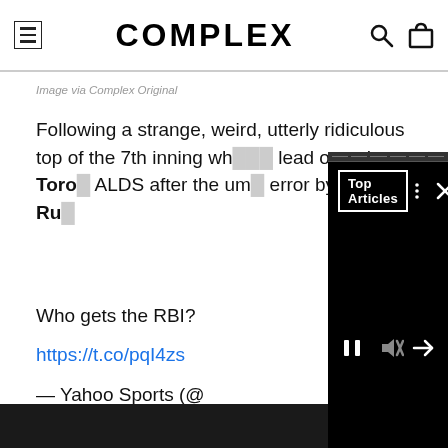COMPLEX
Image via Complex Original
Following a strange, weird, utterly ridiculous top of the 7th inning wh lead over the Toro ALDS after the um error by catcher Ru
Who gets the RBI?
https://t.co/pqI4zs
— Yahoo Sports (@
[Figure (screenshot): Top Articles video overlay panel with play/pause, mute, and next controls on dark background]
While it appears that the ball struck the bat/hand of